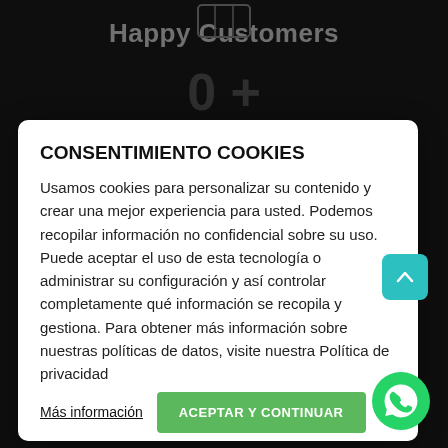[Figure (screenshot): Dark website background showing 'Happy Customers' heading with '0+' counter and 'Employer Solutions' heading with '0+' counter]
CONSENTIMIENTO COOKIES
Usamos cookies para personalizar su contenido y crear una mejor experiencia para usted. Podemos recopilar información no confidencial sobre su uso. Puede aceptar el uso de esta tecnología o administrar su configuración y así controlar completamente qué información se recopila y gestiona. Para obtener más información sobre nuestras políticas de datos, visite nuestra Política de privacidad
Más información
ACEPTAR Y CONTINUAR